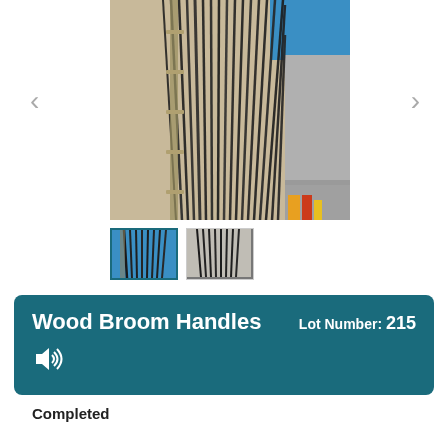[Figure (photo): Main photo of wood broom handles bundled together, leaning against a wall, shown from above at an angle. Dark gray/black bristle-like handles visible.]
[Figure (photo): Thumbnail 1: Close-up of broom handles with blue background, selected/active thumbnail with teal border.]
[Figure (photo): Thumbnail 2: Side view of broom handles bundled together.]
Wood Broom Handles
Lot Number: 215
Completed